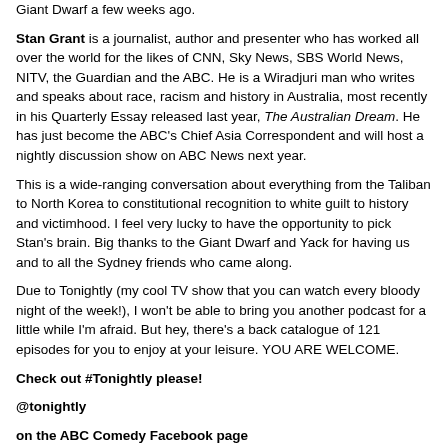Giant Dwarf a few weeks ago.
Stan Grant is a journalist, author and presenter who has worked all over the world for the likes of CNN, Sky News, SBS World News, NITV, the Guardian and the ABC. He is a Wiradjuri man who writes and speaks about race, racism and history in Australia, most recently in his Quarterly Essay released last year, The Australian Dream. He has just become the ABC's Chief Asia Correspondent and will host a nightly discussion show on ABC News next year.
This is a wide-ranging conversation about everything from the Taliban to North Korea to constitutional recognition to white guilt to history and victimhood. I feel very lucky to have the opportunity to pick Stan's brain. Big thanks to the Giant Dwarf and Yack for having us and to all the Sydney friends who came along.
Due to Tonightly (my cool TV show that you can watch every bloody night of the week!), I won't be able to bring you another podcast for a little while I'm afraid. But hey, there's a back catalogue of 121 episodes for you to enjoy at your leisure. YOU ARE WELCOME.
Check out #Tonightly please!
@tonightly
on the ABC Comedy Facebook page
on the ABC Comedy YouTube Channel